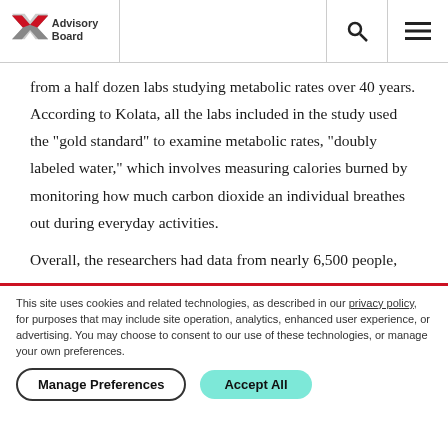Advisory Board
from a half dozen labs studying metabolic rates over 40 years. According to Kolata, all the labs included in the study used the "gold standard" to examine metabolic rates, "doubly labeled water," which involves measuring calories burned by monitoring how much carbon dioxide an individual breathes out during everyday activities.

Overall, the researchers had data from nearly 6,500 people,
This site uses cookies and related technologies, as described in our privacy policy, for purposes that may include site operation, analytics, enhanced user experience, or advertising. You may choose to consent to our use of these technologies, or manage your own preferences.
Manage Preferences | Accept All